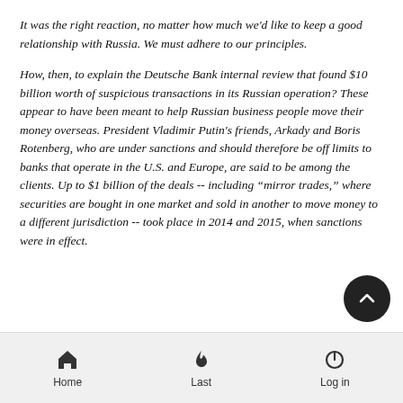It was the right reaction, no matter how much we'd like to keep a good relationship with Russia. We must adhere to our principles.
How, then, to explain the Deutsche Bank internal review that found $10 billion worth of suspicious transactions in its Russian operation? These appear to have been meant to help Russian business people move their money overseas. President Vladimir Putin's friends, Arkady and Boris Rotenberg, who are under sanctions and should therefore be off limits to banks that operate in the U.S. and Europe, are said to be among the clients. Up to $1 billion of the deals -- including “mirror trades,” where securities are bought in one market and sold in another to move money to a different jurisdiction -- took place in 2014 and 2015, when sanctions were in effect.
Home  Last  Log in